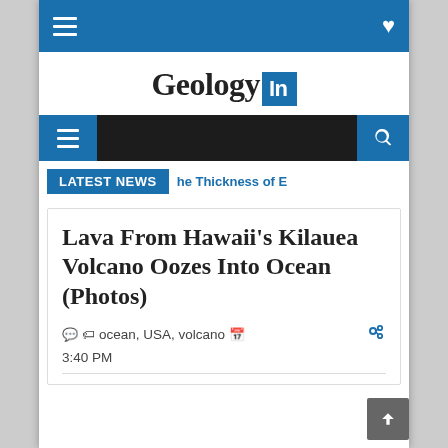Geology In
LATEST NEWS  he Thickness of E
Lava From Hawaii's Kilauea Volcano Oozes Into Ocean (Photos)
ocean, USA, volcano  3:40 PM